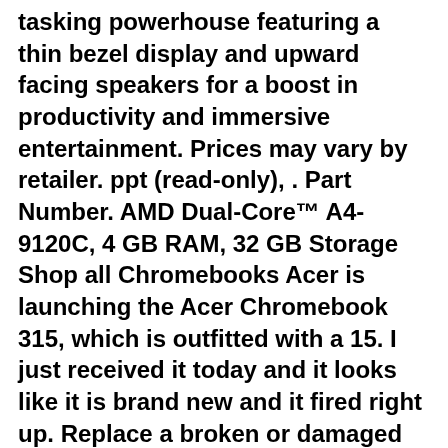tasking powerhouse featuring a thin bezel display and upward facing speakers for a boost in productivity and immersive entertainment. Prices may vary by retailer. ppt (read-only), . Part Number. AMD Dual-Core™ A4-9120C, 4 GB RAM, 32 GB Storage Shop all Chromebooks Acer is launching the Acer Chromebook 315, which is outfitted with a 15. I just received it today and it looks like it is brand new and it fired right up. Replace a broken or damaged LVDS display cable for your Acer 11 C720P Chromebook. This company will get more of my business in the future if I need Acer Buy Acer Chromebook 315 CB315-4H CB315-4H-C2JF 15. Mobile data. Access Membership . 5